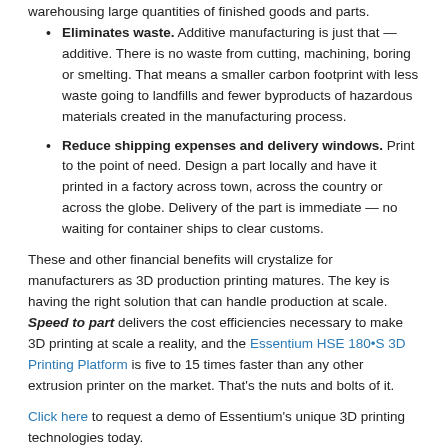warehousing large quantities of finished goods and parts.
Eliminates waste. Additive manufacturing is just that — additive. There is no waste from cutting, machining, boring or smelting. That means a smaller carbon footprint with less waste going to landfills and fewer byproducts of hazardous materials created in the manufacturing process.
Reduce shipping expenses and delivery windows. Print to the point of need. Design a part locally and have it printed in a factory across town, across the country or across the globe. Delivery of the part is immediate — no waiting for container ships to clear customs.
These and other financial benefits will crystalize for manufacturers as 3D production printing matures. The key is having the right solution that can handle production at scale. Speed to part delivers the cost efficiencies necessary to make 3D printing at scale a reality, and the Essentium HSE 180•S 3D Printing Platform is five to 15 times faster than any other extrusion printer on the market. That's the nuts and bolts of it.
Click here to request a demo of Essentium's unique 3D printing technologies today.